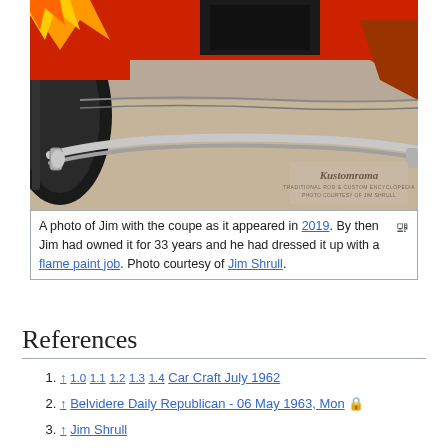[Figure (photo): Close-up photo of the front bumper and wheel area of a red hot rod coupe with flame paint job on sandy/dirt ground. A Kustomrama watermark box is visible in the lower right corner.]
A photo of Jim with the coupe as it appeared in 2019. By then Jim had owned it for 33 years and he had dressed it up with a flame paint job. Photo courtesy of Jim Shrull.
References
↑ 1.0 1.1 1.2 1.3 1.4 Car Craft July 1962
↑ Belvidere Daily Republican - 06 May 1963, Mon 🔒
↑ Jim Shrull